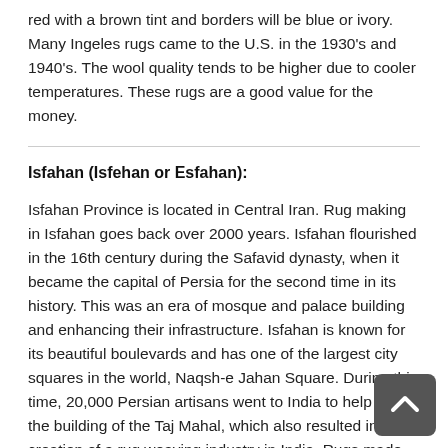red with a brown tint and borders will be blue or ivory. Many Ingeles rugs came to the U.S. in the 1930's and 1940's. The wool quality tends to be higher due to cooler temperatures. These rugs are a good value for the money.
Isfahan (Isfehan or Esfahan):
Isfahan Province is located in Central Iran. Rug making in Isfahan goes back over 2000 years. Isfahan flourished in the 16th century during the Safavid dynasty, when it became the capital of Persia for the second time in its history. This was an era of mosque and palace building and enhancing their infrastructure. Isfahan is known for its beautiful boulevards and has one of the largest city squares in the world, Naqsh-e Jahan Square. During this time, 20,000 Persian artisans went to India to help with the building of the Taj Mahal, which also resulted in the creation of a rug weaving industry in India. Rugs made during the 16th and 17th century are rare, practically all in existence are housed in large museums or are in the hands of wealthy private collectors. Most of the old vase carpets, hunting carpets, and animal carpets are thought to be Isfahans. Designs seen in the mosaics on the buildings are mirrored in